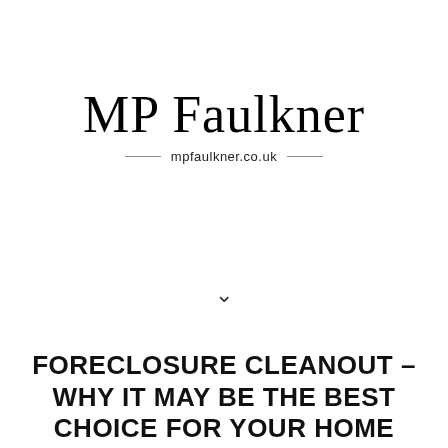[Figure (logo): MP Faulkner cursive script logo with website URL mpfaulkner.co.uk below, flanked by horizontal lines]
[Figure (other): Chevron/down-arrow icon indicating scroll or navigation]
FORECLOSURE CLEANOUT – WHY IT MAY BE THE BEST CHOICE FOR YOUR HOME
If you have a foreclosure on your record, you may want to